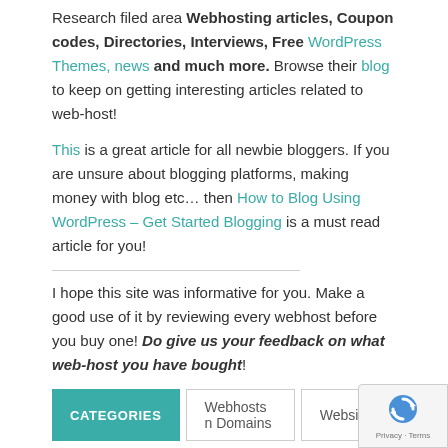Research filed area Webhosting articles, Coupon codes, Directories, Interviews, Free WordPress Themes, news and much more. Browse their blog to keep on getting interesting articles related to web-host!
This is a great article for all newbie bloggers. If you are unsure about blogging platforms, making money with blog etc… then How to Blog Using WordPress – Get Started Blogging is a must read article for you!
I hope this site was informative for you. Make a good use of it by reviewing every webhost before you buy one! Do give us your feedback on what web-host you have bought!
CATEGORIES  Webhosts n Domains  Websites
Previous article
Use PickaWeb Domain Hosting to buy Domains and Web Host at reasonable price